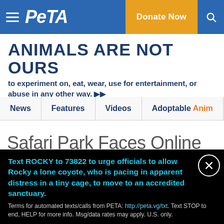PETA — Donate Now
ANIMALS ARE NOT OURS to experiment on, eat, wear, use for entertainment, or abuse in any other way.
News
Features
Videos
Adoptable Anim
Safari Park Faces Online Backlash After Tiger-Whipping Video Surfaces
Text ROCKY to 73822 to urge officials to allow Rocky a lone coyote, who is pacing in apparent distress in a tiny cage, to move to an accredited sanctuary.
Terms for automated texts/calls from PETA: http://peta.vg/txt. Text STOP to end, HELP for more info. Msg/data rates may apply. U.S. only.